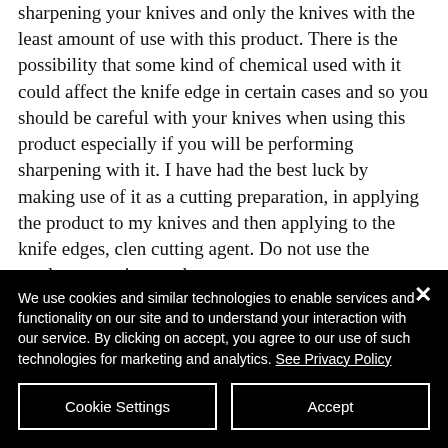sharpening your knives and only the knives with the least amount of use with this product. There is the possibility that some kind of chemical used with it could affect the knife edge in certain cases and so you should be careful with your knives when using this product especially if you will be performing sharpening with it. I have had the best luck by making use of it as a cutting preparation, in applying the product to my knives and then applying to the knife edges, clen cutting agent. Do not use the product over time to the
We use cookies and similar technologies to enable services and functionality on our site and to understand your interaction with our service. By clicking on accept, you agree to our use of such technologies for marketing and analytics. See Privacy Policy
Cookie Settings
Accept